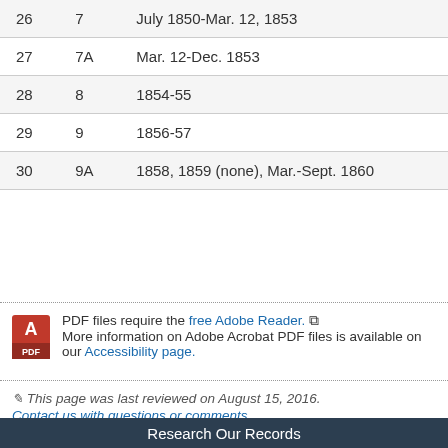| 26 | 7 | July 1850-Mar. 12, 1853 |
| 27 | 7A | Mar. 12-Dec. 1853 |
| 28 | 8 | 1854-55 |
| 29 | 9 | 1856-57 |
| 30 | 9A | 1858, 1859 (none), Mar.-Sept. 1860 |
PDF files require the free Adobe Reader. More information on Adobe Acrobat PDF files is available on our Accessibility page.
This page was last reviewed on August 15, 2016. Contact us with questions or comments.
Research Our Records